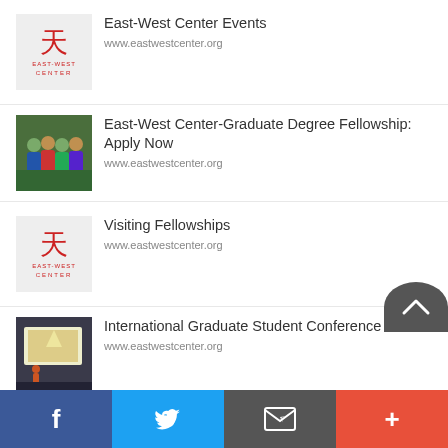East-West Center Events
www.eastwestcenter.org
East-West Center-Graduate Degree Fellowship: Apply Now
www.eastwestcenter.org
Visiting Fellowships
www.eastwestcenter.org
International Graduate Student Conference
www.eastwestcenter.org
[Figure (screenshot): Mobile app listing page showing East-West Center events with social share bar at bottom]